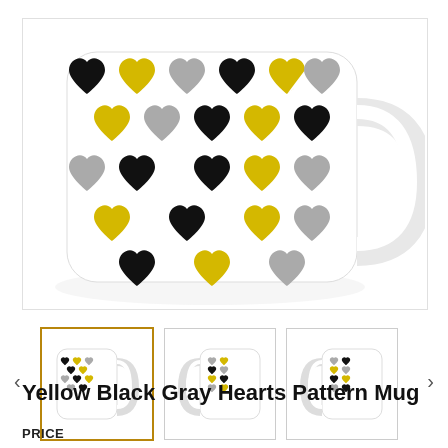[Figure (photo): Large product image of a white ceramic mug with yellow, black, and gray heart pattern printed on it. The mug has a handle on the right side.]
[Figure (photo): Thumbnail 1 (selected, highlighted border): small image of the same mug showing front with hearts pattern, handle on right.]
[Figure (photo): Thumbnail 2: small image of mug showing handle on left, hearts pattern visible on the body.]
[Figure (photo): Thumbnail 3: small image of mug from a slightly different angle showing handle on left and hearts pattern.]
Yellow Black Gray Hearts Pattern Mug
PRICE